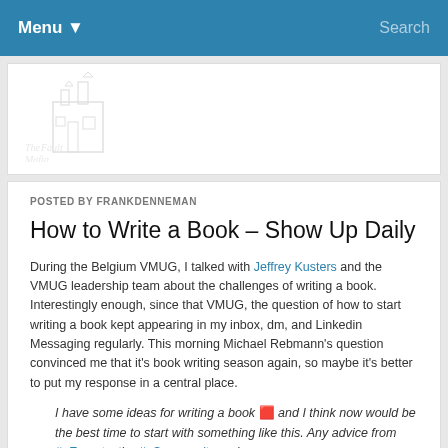Menu ▼   Search
[Figure (logo): The Fault Mafia logo — building silhouette with text]
POSTED BY FRANKDENNEMAN
How to Write a Book – Show Up Daily
During the Belgium VMUG, I talked with Jeffrey Kusters and the VMUG leadership team about the challenges of writing a book. Interestingly enough, since that VMUG, the question of how to start writing a book kept appearing in my inbox, dm, and Linkedin Messaging regularly. This morning Michael Rebmann's question convinced me that it's book writing season again, so maybe it's better to put my response in a central place.
I have some ideas for writing a book 🟥 and I think now would be the best time to start with something like this. Any advice from #vExperts, the #vCommunity and